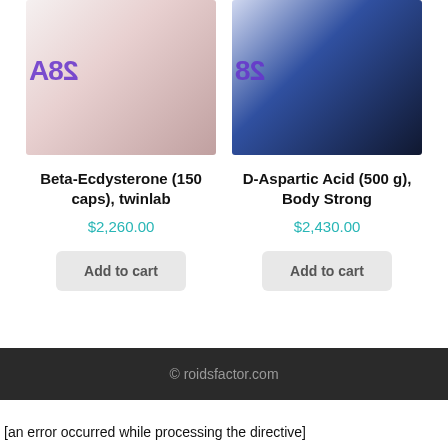[Figure (photo): Product image for Beta-Ecdysterone supplement bottle with red/dark label, partially showing mirrored text '28A' in purple]
[Figure (photo): Product image for D-Aspartic Acid supplement tub, blue/dark color, partially showing mirrored text '28' in purple]
Beta-Ecdysterone (150 caps), twinlab
$2,260.00
Add to cart
D-Aspartic Acid (500 g), Body Strong
$2,430.00
Add to cart
© roidsfactor.com
[an error occurred while processing the directive]